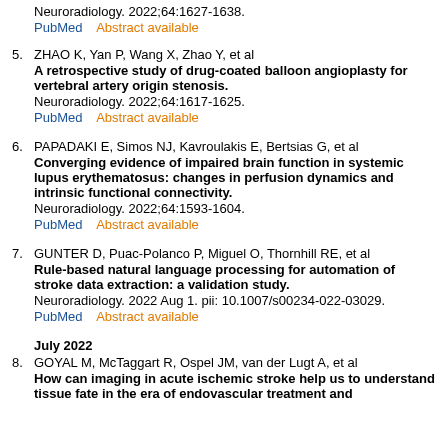Neuroradiology. 2022;64:1627-1638.
PubMed    Abstract available
5. ZHAO K, Yan P, Wang X, Zhao Y, et al
A retrospective study of drug-coated balloon angioplasty for vertebral artery origin stenosis.
Neuroradiology. 2022;64:1617-1625.
PubMed    Abstract available
6. PAPADAKI E, Simos NJ, Kavroulakis E, Bertsias G, et al
Converging evidence of impaired brain function in systemic lupus erythematosus: changes in perfusion dynamics and intrinsic functional connectivity.
Neuroradiology. 2022;64:1593-1604.
PubMed    Abstract available
7. GUNTER D, Puac-Polanco P, Miguel O, Thornhill RE, et al
Rule-based natural language processing for automation of stroke data extraction: a validation study.
Neuroradiology. 2022 Aug 1. pii: 10.1007/s00234-022-03029.
PubMed    Abstract available
July 2022
8. GOYAL M, McTaggart R, Ospel JM, van der Lugt A, et al
How can imaging in acute ischemic stroke help us to understand tissue fate in the era of endovascular treatment and